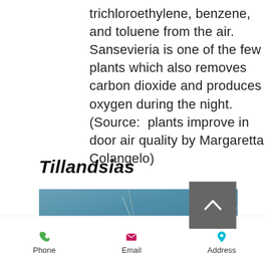trichloroethylene, benzene, and toluene from the air. Sansevieria is one of the few plants which also removes carbon dioxide and produces oxygen during the night. (Source:  plants improve in door air quality by Margaretta Colangelo)
Tillandsias
[Figure (photo): Close-up photo of Tillandsia plant with thin needle-like leaves against a teal/blue-grey textured background, with a grey scroll-to-top button overlay in the upper right corner]
Phone   Email   Address